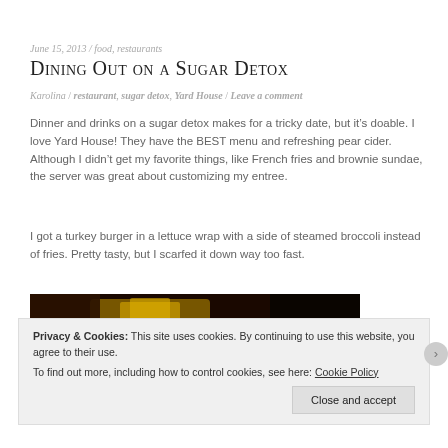June 15, 2013 / food, restaurants
Dining Out on a Sugar Detox
Karolina / restaurant, sugar detox, Yard House / Leave a comment
Dinner and drinks on a sugar detox makes for a tricky date, but it’s doable. I love Yard House! They have the BEST menu and refreshing pear cider. Although I didn’t get my favorite things, like French fries and brownie sundae, the server was great about customizing my entree.
I got a turkey burger in a lettuce wrap with a side of steamed broccoli instead of fries. Pretty tasty, but I scarfed it down way too fast.
[Figure (photo): Dark photo of food/drinks at Yard House restaurant]
Privacy & Cookies: This site uses cookies. By continuing to use this website, you agree to their use. To find out more, including how to control cookies, see here: Cookie Policy
Close and accept